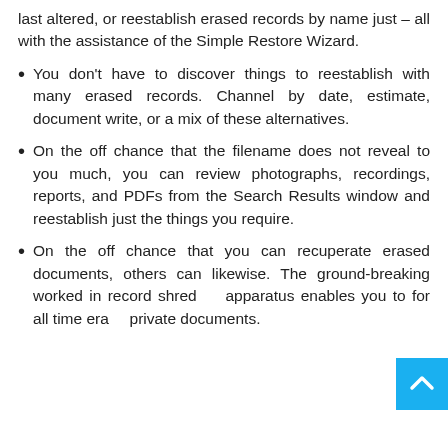last altered, or reestablish erased records by name just – all with the assistance of the Simple Restore Wizard.
You don't have to discover things to reestablish with many erased records. Channel by date, estimate, document write, or a mix of these alternatives.
On the off chance that the filename does not reveal to you much, you can review photographs, recordings, reports, and PDFs from the Search Results window and reestablish just the things you require.
On the off chance that you can recuperate erased documents, others can likewise. The ground-breaking worked in record shredder apparatus enables you to for all time erase private documents.